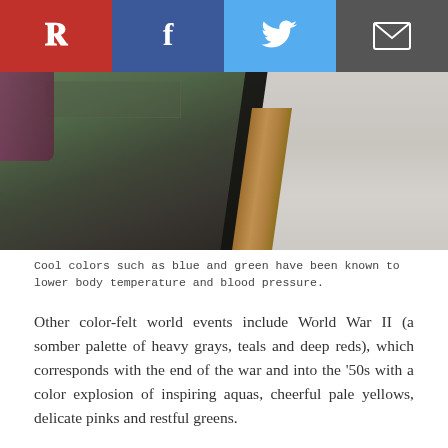[Figure (other): Social sharing bar with Pinterest (red), Facebook (dark blue), Twitter (light blue), and Email (dark gray) buttons with white icons]
[Figure (photo): Interior room photo showing a glass-topped coffee table with metal/wood frame, green carpet/flooring on the left, and white textured surface on the right]
Cool colors such as blue and green have been known to lower body temperature and blood pressure.
Other color-felt world events include World War II (a somber palette of heavy grays, teals and deep reds), which corresponds with the end of the war and into the '50s with a color explosion of inspiring aquas, cheerful pale yellows, delicate pinks and restful greens.
Determining colors that positively affect the way you feel can change the way you react in a space. Here are a few ways to achieve this:
Take your lifestyle into consideration. Workaholics